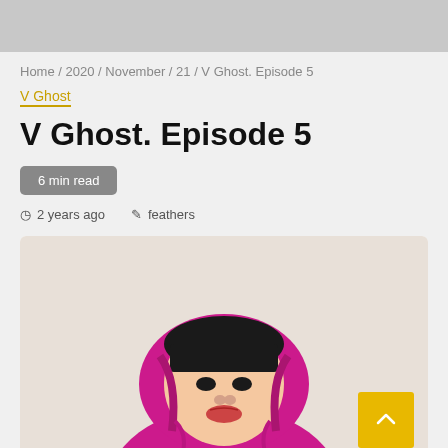Home / 2020 / November / 21 / V Ghost. Episode 5
V Ghost
V Ghost. Episode 5
6 min read
2 years ago  feathers
[Figure (photo): A person wearing a bright magenta/pink hoodie with the hood up, dark bangs visible, looking upward with lips slightly pursed, photographed against a light background]